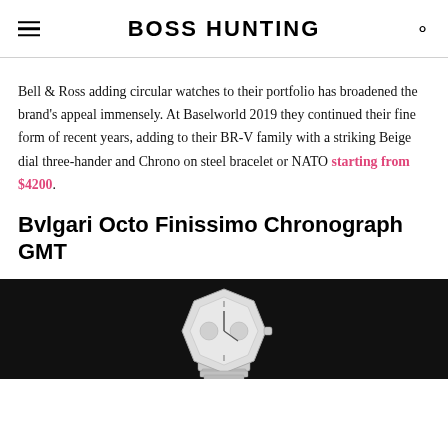BOSS HUNTING
Bell & Ross adding circular watches to their portfolio has broadened the brand's appeal immensely. At Baselworld 2019 they continued their fine form of recent years, adding to their BR-V family with a striking Beige dial three-hander and Chrono on steel bracelet or NATO starting from $4200.
Bvlgari Octo Finissimo Chronograph GMT
[Figure (photo): Partial view of a Bvlgari Octo Finissimo Chronograph GMT watch on a dark background, showing the angular case and bracelet.]